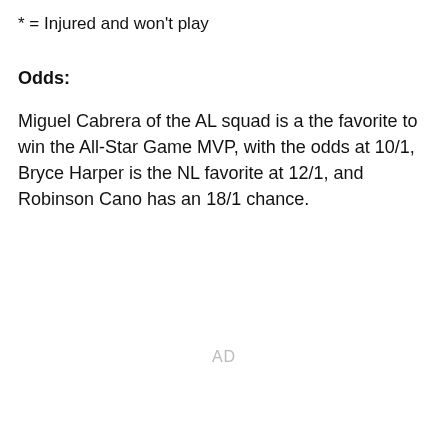* = Injured and won't play
Odds:
Miguel Cabrera of the AL squad is a the favorite to win the All-Star Game MVP, with the odds at 10/1, Bryce Harper is the NL favorite at 12/1, and Robinson Cano has an 18/1 chance.
AD